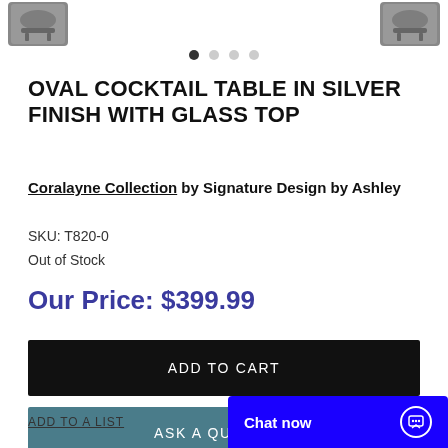[Figure (photo): Partial product thumbnail images at top of page, two furniture piece thumbnails visible]
OVAL COCKTAIL TABLE IN SILVER FINISH WITH GLASS TOP
Coralayne Collection by Signature Design by Ashley
SKU: T820-0
Out of Stock
Our Price: $399.99
ADD TO CART
ASK A QUESTION
ADD TO A LIST
Chat now